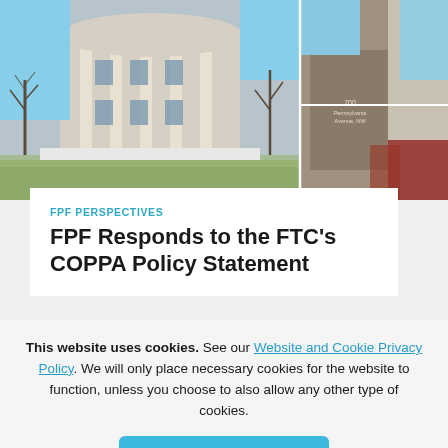[Figure (photo): Photograph collage of government buildings in Washington D.C., likely FTC headquarters, with bare winter trees and blue sky]
FPF PERSPECTIVES
FPF Responds to the FTC's COPPA Policy Statement
This website uses cookies. See our Website and Cookie Privacy Policy. We will only place necessary cookies for the website to function, unless you choose to also allow any other type of cookies.
I Agree